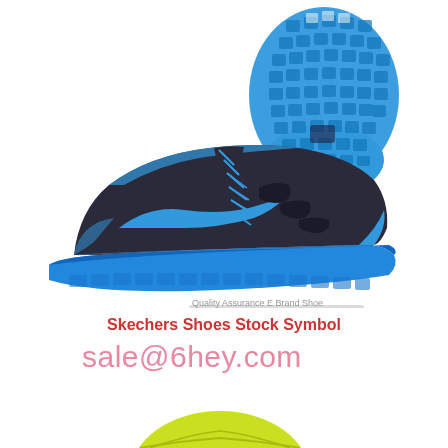[Figure (photo): Nike Free Run 2 running shoes in dark grey/charcoal with blue accents and blue sole. Two views shown: side profile of the shoe and bottom sole view showing blue rubber with square grid pattern. Watermark reads 'Quality Assurance E Brand Shoe'.]
Skechers Shoes Stock Symbol
sale@6hey.com
[Figure (photo): Partial view of a yellow-green/lime colored shoe sole at the bottom of the page.]